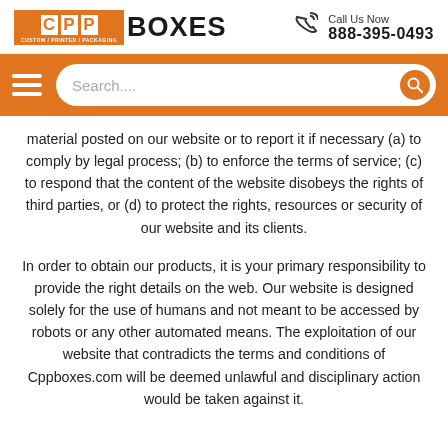CPP BOXES CUSTOM/PRINTED/PACKAGING | Call Us Now 888-395-0493
[Figure (other): Orange navigation bar with hamburger menu icon on left and a rounded search input field with search button on right]
material posted on our website or to report it if necessary (a) to comply by legal process; (b) to enforce the terms of service; (c) to respond that the content of the website disobeys the rights of third parties, or (d) to protect the rights, resources or security of our website and its clients.
In order to obtain our products, it is your primary responsibility to provide the right details on the web. Our website is designed solely for the use of humans and not meant to be accessed by robots or any other automated means. The exploitation of our website that contradicts the terms and conditions of Cppboxes.com will be deemed unlawful and disciplinary action would be taken against it.